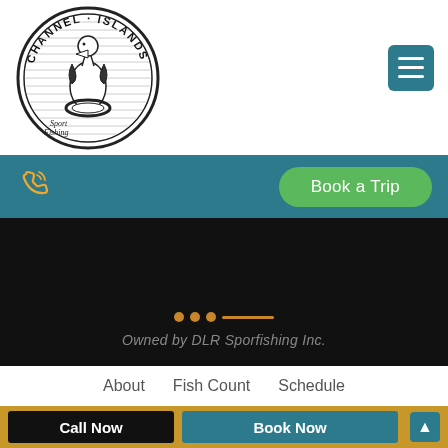[Figure (logo): Channel Islands Sport Fishing logo: circular emblem with a pelican standing on a life preserver, surrounded by text 'CHANNEL ISLANDS' in arc at top and 'Sport Fishing' in script]
[Figure (other): Teal hamburger menu button with three white horizontal lines]
[Figure (other): Teal navigation bar with orange phone icon on left and green 'Book a Trip' rounded button on right]
Owned by DLR Sporfishing Inc.
About
Fish Count
Schedule
Call Now
Book Now